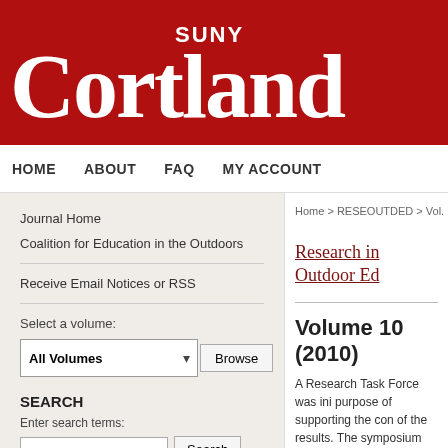[Figure (logo): SUNY Cortland logo on dark red background banner]
HOME   ABOUT   FAQ   MY ACCOUNT
Journal Home
Coalition for Education in the Outdoors
Receive Email Notices or RSS
Select a volume:
All Volumes  Browse
SEARCH
Enter search terms:
Home > RESEOUTDED > Vol. 10 (2010
Research in Outdoor Ed
Volume 10 (2010)
A Research Task Force was ini purpose of supporting the con of the results. The symposium evidence of the success of this